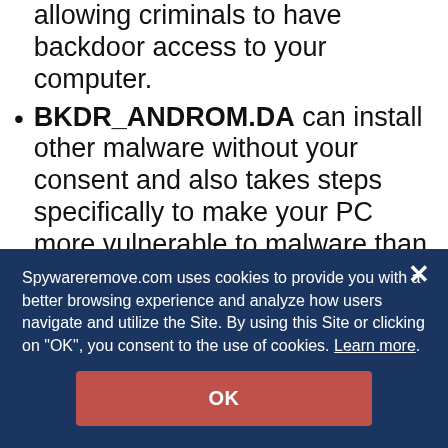allowing criminals to have backdoor access to your computer.
BKDR_ANDROM.DA can install other malware without your consent and also takes steps specifically to make your PC more vulnerable to malware than normal (by abusing features of the Windows Command Shell)
BKDR_ANDROM.DA may steal information that's typed on your keyboard via keylogging attacks.
Spywareremove.com uses cookies to provide you with a better browsing experience and analyze how users navigate and utilize the Site. By using this Site or clicking on "OK", you consent to the use of cookies. Learn more.